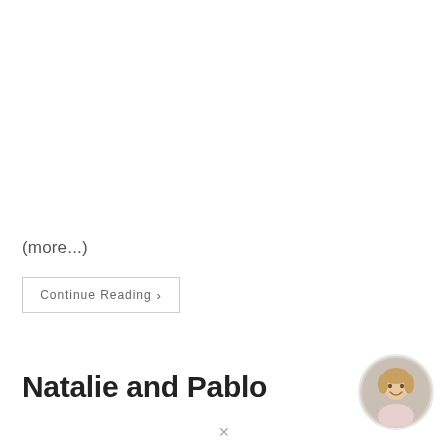(more...)
Continue Reading ›
Natalie and Pablo
[Figure (photo): Circular avatar photo of a smiling blonde woman in a floral top, with a light gray/white circular border.]